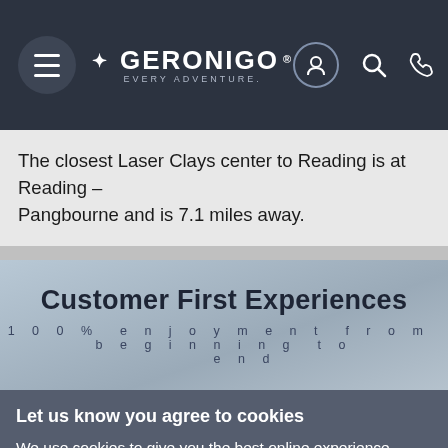[Figure (screenshot): Geronigo website navigation header with hamburger menu, Geronigo logo with tagline 'EVERY ADVENTURE', and icons for user account, search, and phone on dark background]
The closest Laser Clays center to Reading is at Reading – Pangbourne and is 7.1 miles away.
Customer First Experiences
100% enjoyment from beginning to end
Let us know you agree to cookies
We use cookies to give you the best online experience. Please let us know if you agree to all of these cookies.
✓ OK   Take me to settings